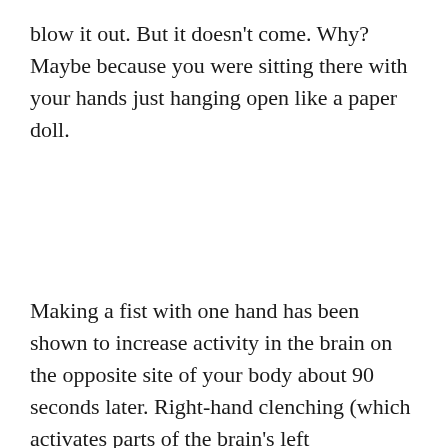blow it out. But it doesn't come. Why? Maybe because you were sitting there with your hands just hanging open like a paper doll.
Making a fist with one hand has been shown to increase activity in the brain on the opposite site of your body about 90 seconds later. Right-hand clenching (which activates parts of the brain's left